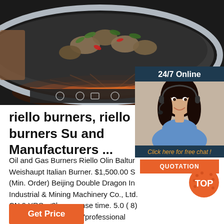[Figure (photo): Photo of a stainless steel wok/pan with cooked food (clams, vegetables) on an induction cooktop with glowing red heating elements. Shows control panel with icons at bottom.]
[Figure (photo): Customer service representative - a woman with dark hair wearing a headset and blue shirt, smiling. Overlaid with '24/7 Online' header, 'Click here for free chat!' text, and orange QUOTATION button. Set in dark blue panel.]
riello burners, riello burners Su and Manufacturers ...
Oil and Gas Burners Riello Olin Baltur Weishaupt Italian Burner. $1,500.00 S (Min. Order) Beijing Double Dragon In Industrial & Mining Machinery Co., Ltd. CN 9 YRS. ≤3h response time. 5.0 ( 8) 'Professional supplier' 'professional service'. Contact Supplier
[Figure (logo): Orange 'TOP' badge/logo with dot pattern in bottom right corner]
Get Price